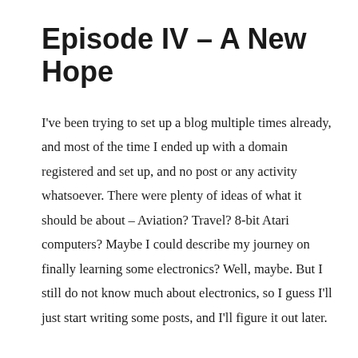Episode IV – A New Hope
I've been trying to set up a blog multiple times already, and most of the time I ended up with a domain registered and set up, and no post or any activity whatsoever. There were plenty of ideas of what it should be about – Aviation? Travel? 8-bit Atari computers? Maybe I could describe my journey on finally learning some electronics? Well, maybe. But I still do not know much about electronics, so I guess I'll just start writing some posts, and I'll figure it out later.
I have always been a fan of Star Wars, hence the name of the blog will be Duro Sector, for now at least. Duro is a home world of one of my favourite alien species in